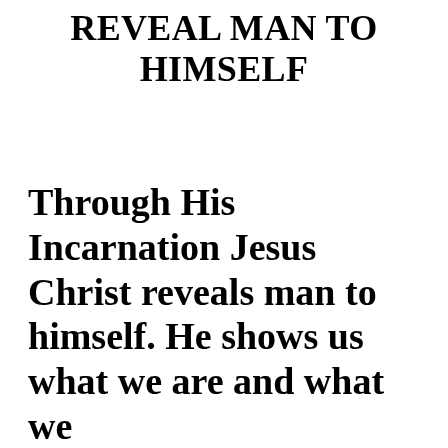REVEAL MAN TO HIMSELF
Through His Incarnation Jesus Christ reveals man to himself. He shows us what we are and what we